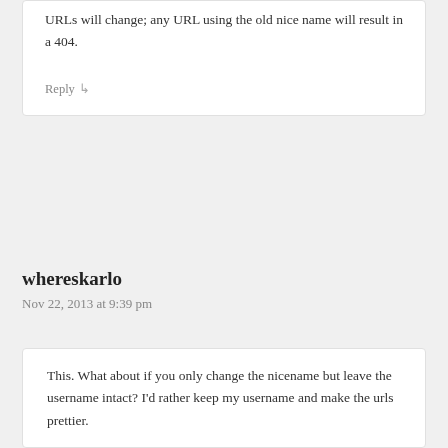URLs will change; any URL using the old nice name will result in a 404.
Reply ↳
whereskarlo
Nov 22, 2013 at 9:39 pm
This. What about if you only change the nicename but leave the username intact? I'd rather keep my username and make the urls prettier.